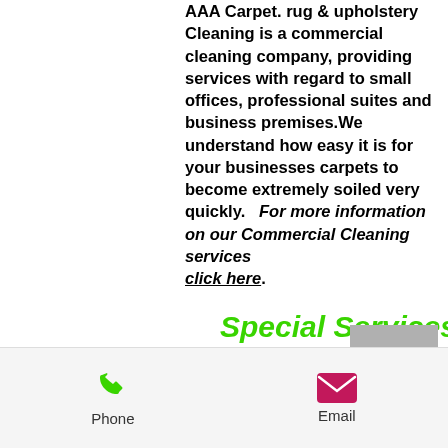AAA Carpet. rug & upholstery Cleaning is a commercial cleaning company, providing services with regard to small offices, professional suites and business premises.We understand how easy it is for your businesses carpets to become extremely soiled very quickly.  For more information on our Commercial Cleaning services click here.
Special Services
[Figure (other): Back to top button - grey square with white upward chevron arrow]
Phone  Email